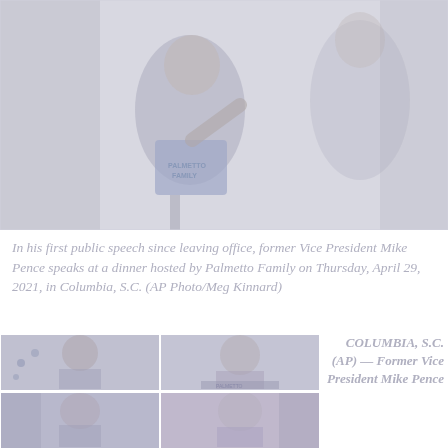[Figure (photo): Former Vice President Mike Pence speaking at a podium at a Palmetto Family dinner event, wearing a blue vest with 'Palmetto Family' text, gesturing with his hand, with another person visible in the background.]
In his first public speech since leaving office, former Vice President Mike Pence speaks at a dinner hosted by Palmetto Family on Thursday, April 29, 2021, in Columbia, S.C. (AP Photo/Meg Kinnard)
[Figure (photo): Mike Pence speaking at a podium with American flags in the background, smaller thumbnail photo.]
[Figure (photo): Mike Pence at a podium, another thumbnail photo from the event.]
[Figure (photo): Another thumbnail photo from the event, bottom left.]
[Figure (photo): Another thumbnail photo from the event, bottom right.]
COLUMBIA, S.C. (AP) — Former Vice President Mike Pence